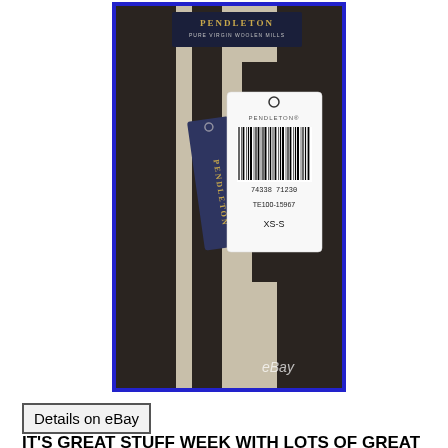[Figure (photo): Photo of Pendleton brand tags on a black and white patterned textile. Shows a dark navy Pendleton hang tag and a white price/barcode tag with text 'TE100-15967', 'XS-S', and barcode number '74338 71230'. The background is a Pendleton Woolen Mills label and black/cream patterned fabric. An eBay watermark is visible in the lower right corner.]
Details on eBay
IT'S GREAT STUFF WEEK WITH LOTS OF GREAT LISTINGS! CHECK OUT ALL THE AWESOME ITEMS! Crazy cool Pendleton Harding cocoon coat,